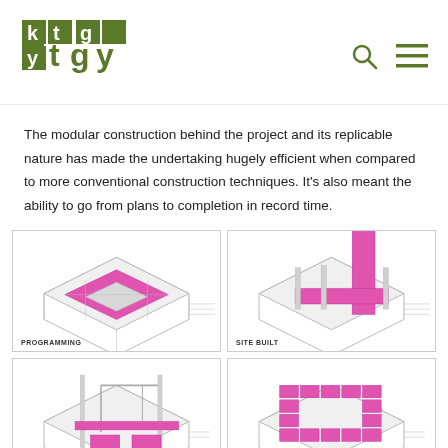[Figure (logo): KTGY architecture firm logo in green]
The modular construction behind the project and its replicable nature has made the undertaking hugely efficient when compared to more conventional construction techniques. It's also meant the ability to go from plans to completion in record time.
[Figure (engineering-diagram): Isometric architectural diagram labeled PROGRAMMING showing a pink highlighted floor plan layout]
[Figure (engineering-diagram): Isometric architectural diagram labeled SITE BUILT showing a pink vertical tower element on a building footprint]
[Figure (engineering-diagram): Isometric architectural diagram showing modular construction with pink elements being placed]
[Figure (engineering-diagram): Isometric architectural diagram showing completed modular building with pink modules arranged around a courtyard]